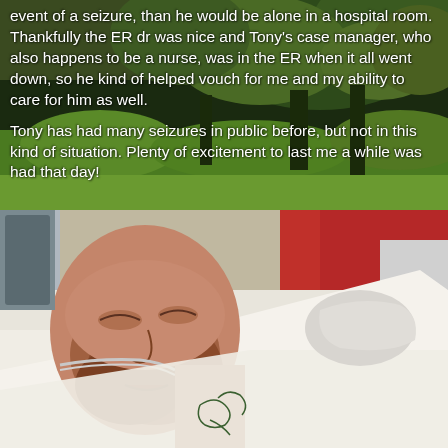[Figure (photo): Background photo of green trees and grass, partially visible behind white text overlay in upper portion of image]
event of a seizure, than he would be alone in a hospital room. Thankfully the ER dr was nice and Tony's case manager, who also happens to be a nurse, was in the ER when it all went down, so he kind of helped vouch for me and my ability to care for him as well.
Tony has had many seizures in public before, but not in this kind of situation. Plenty of excitement to last me a while was had that day!
[Figure (photo): Photo of a bearded man lying on a hospital/ambulance stretcher, eyes closed or partially open, covered with a white sheet, with medical tubing visible, and a red ambulance interior visible in the background. The man has tattoos on his chest/shoulder area.]